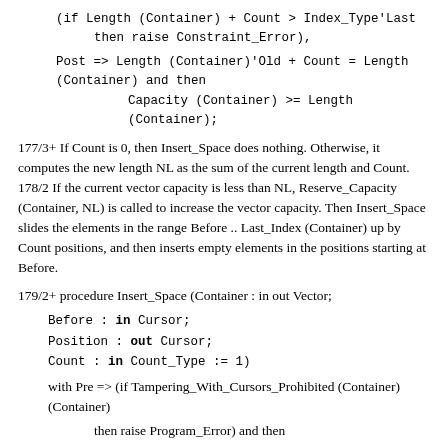177/3+ If Count is 0, then Insert_Space does nothing. Otherwise, it computes the new length NL as the sum of the current length and Count. 178/2 If the current vector capacity is less than NL, Reserve_Capacity (Container, NL) is called to increase the vector capacity. Then Insert_Space slides the elements in the range Before .. Last_Index (Container) up by Count positions, and then inserts empty elements in the positions starting at Before.